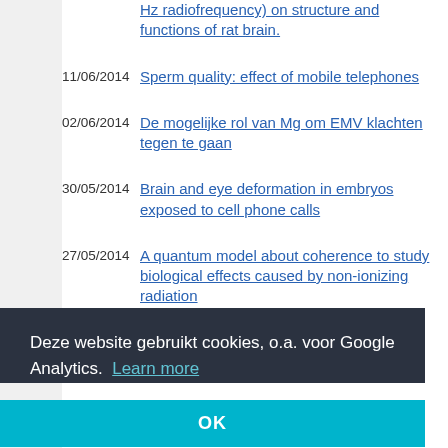11/06/2014 Sperm quality: effect of mobile telephones
02/06/2014 De mogelijke rol van Mg om EMV klachten tegen te gaan
30/05/2014 Brain and eye deformation in embryos exposed to cell phone calls
27/05/2014 A quantum model about coherence to study biological effects caused by non-ionizing radiation
Deze website gebruikt cookies, o.a. voor Google Analytics. Learn more
OK